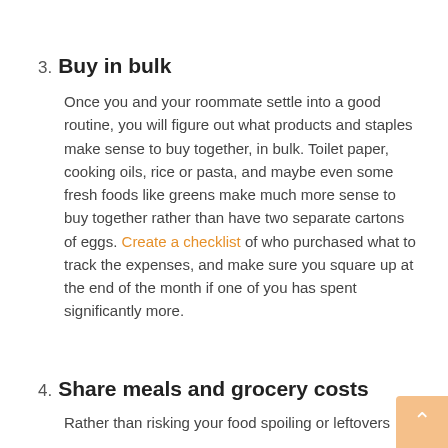3. Buy in bulk
Once you and your roommate settle into a good routine, you will figure out what products and staples make sense to buy together, in bulk. Toilet paper, cooking oils, rice or pasta, and maybe even some fresh foods like greens make much more sense to buy together rather than have two separate cartons of eggs. Create a checklist of who purchased what to track the expenses, and make sure you square up at the end of the month if one of you has spent significantly more.
4. Share meals and grocery costs
Rather than risking your food spoiling or leftovers